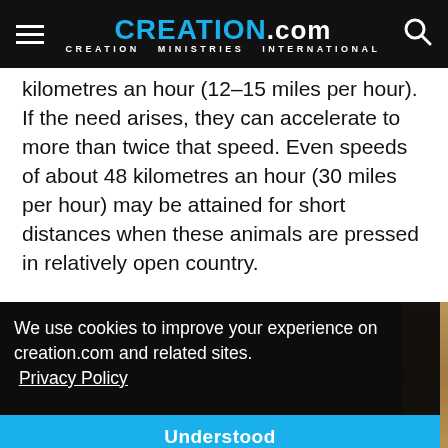CREATION.com — CREATION MINISTRIES INTERNATIONAL
kilometres an hour (12–15 miles per hour). If the need arises, they can accelerate to more than twice that speed. Even speeds of about 48 kilometres an hour (30 miles per hour) may be attained for short distances when these animals are pressed in relatively open country.
[Figure (photo): Partial view of an animal in an outdoor setting; partially obscured by a cookie consent overlay.]
We use cookies to improve your experience on creation.com and related sites. Privacy Policy
Understood